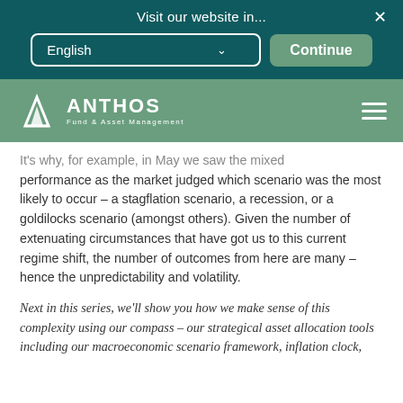Visit our website in...
[Figure (screenshot): Website language selector modal with English dropdown and Continue button on dark teal background]
[Figure (logo): Anthos Fund & Asset Management logo with white geometric mark on green navigation bar]
It's why, for example, in May we saw the mixed performance as the market judged which scenario was the most likely to occur – a stagflation scenario, a recession, or a goldilocks scenario (amongst others). Given the number of extenuating circumstances that have got us to this current regime shift, the number of outcomes from here are many – hence the unpredictability and volatility.
Next in this series, we'll show you how we make sense of this complexity using our compass – our strategical asset allocation tools including our macroeconomic scenario framework, inflation clock,